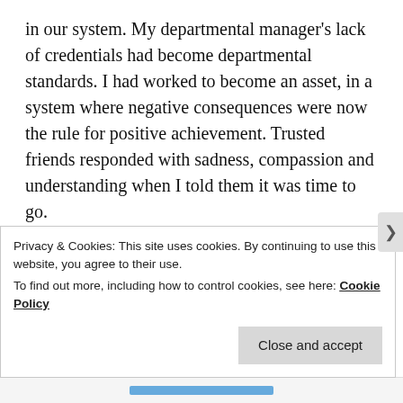in our system. My departmental manager's lack of credentials had become departmental standards. I had worked to become an asset, in a system where negative consequences were now the rule for positive achievement. Trusted friends responded with sadness, compassion and understanding when I told them it was time to go.
I spend my days in relief and in grief. Relief from the stress of departmental policies, grief in this seemingly unfathomable outcome. It is as if someone is throwing a switch I seem to have no control over. Relief at not having to wonder whether I'll trigger an office land...
Privacy & Cookies: This site uses cookies. By continuing to use this website, you agree to their use.
To find out more, including how to control cookies, see here: Cookie Policy